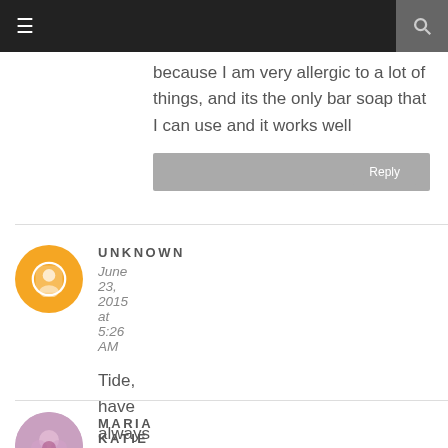≡  🔍
because I am very allergic to a lot of things, and its the only bar soap that I can use and it works well
Reply
UNKNOWN
June 23, 2015 at 5:26 AM
Tide, have always used it!
Reply
MARIA KATIE